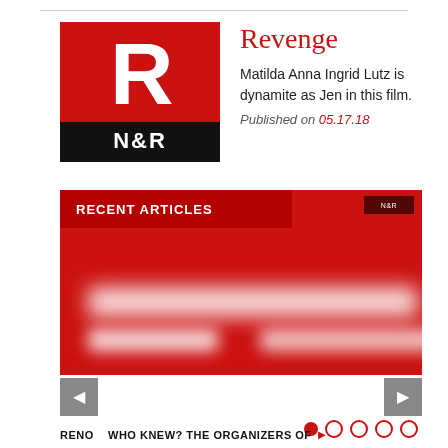[Figure (logo): N&R magazine logo with red background and white R letter above bold N&R text on black band]
Revenge
Matilda Anna Ingrid Lutz is dynamite as Jen in this film.
Published on 05.17.18
[Figure (screenshot): Red banner showing RECENT ARTICLES label with blurred white text shapes and small N&R logo in top right corner]
RENO   WHO KNEW? THE ORGANIZERS OF